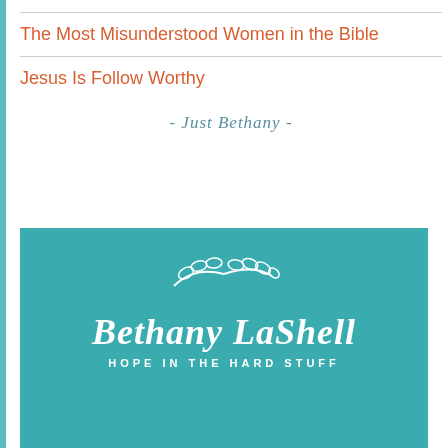The Most Misunderstood Women in the Bible
Jesus Is Follow Worthy
[Figure (logo): Signature style text reading '- Just Bethany -' in italic script with teal color]
[Figure (logo): Teal background logo with decorative leaf branch SVG, script text 'Bethany LaShell' and subtitle 'HOPE IN THE HARD STUFF']